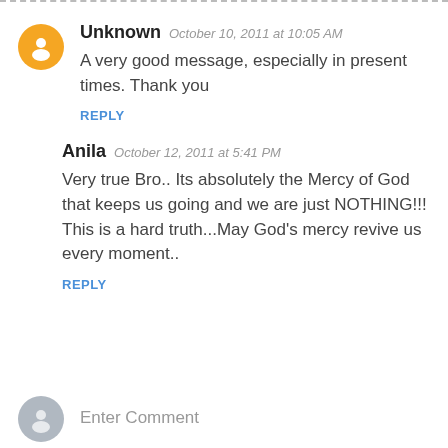Unknown  October 10, 2011 at 10:05 AM
A very good message, especially in present times. Thank you
REPLY
Anila  October 12, 2011 at 5:41 PM
Very true Bro.. Its absolutely the Mercy of God that keeps us going and we are just NOTHING!!! This is a hard truth...May God's mercy revive us every moment..
REPLY
Enter Comment